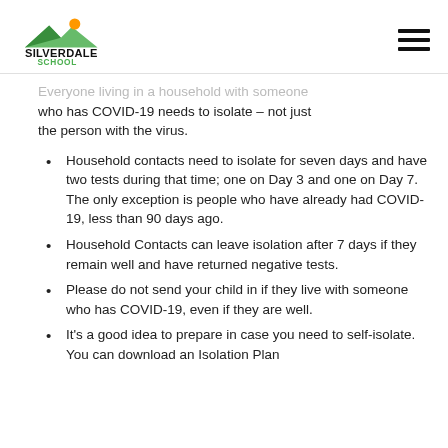Silverdale School
Everyone living in a household with someone who has COVID-19 needs to isolate – not just the person with the virus.
Household contacts need to isolate for seven days and have two tests during that time; one on Day 3 and one on Day 7. The only exception is people who have already had COVID-19, less than 90 days ago.
Household Contacts can leave isolation after 7 days if they remain well and have returned negative tests.
Please do not send your child in if they live with someone who has COVID-19, even if they are well.
It's a good idea to prepare in case you need to self-isolate. You can download an Isolation Plan